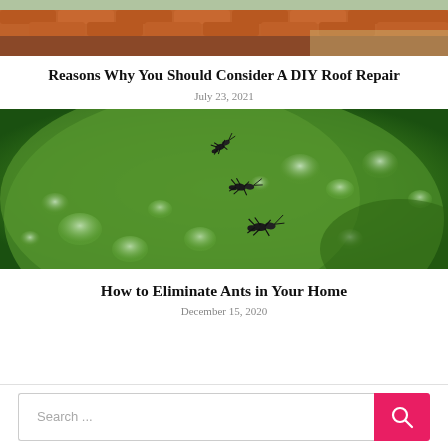[Figure (photo): Aerial or elevated view of a tiled rooftop with orange/terracotta tiles and a fence in background]
Reasons Why You Should Consider A DIY Roof Repair
July 23, 2021
[Figure (photo): Close-up of ants on a green water-droplet covered surface (fruit or leaf), macro photography]
How to Eliminate Ants in Your Home
December 15, 2020